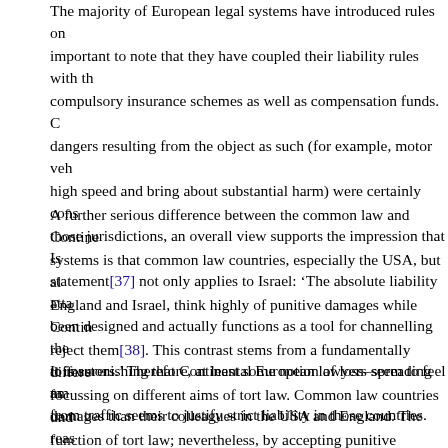The majority of European legal systems have introduced rules on important to note that they have coupled their liability rules with th compulsory insurance schemes as well as compensation funds. C dangers resulting from the object as such (for example, motor veh high speed and bring about substantial harm) were certainly cons those jurisdictions, an overall view supports the impression that Is statement[37] not only applies to Israel: 'The absolute liability atta been designed and actually functions as a tool for channelling the to insurers.' Therefore, at least some notion of loss–spreading am from traffic seems to justify strict liability in those countries.
A further serious difference between the common law and Contine systems is that common law countries, especially the USA, but al England and Israel, think highly of punitive damages while Contin reject them[38]. This contrast stems from a fundamentally differe focussing on different aims of tort law. Common law countries und function of tort law; nevertheless, by accepting punitive damages oversteps the borderline between private and criminal law and thu fundamental principles, namely, e.g., nulla poena sine lege and ru
It is astonishing that Continental European lawyers seem to feel m damages than their colleagues in the USA and England. The reas phenomenon may be some differences between the legal system under US law, punishment under criminal law is of less importanc Europe[39]; this may be true to an even higher degree in the area law. Thus, there may be a greater need for punitive damages in th